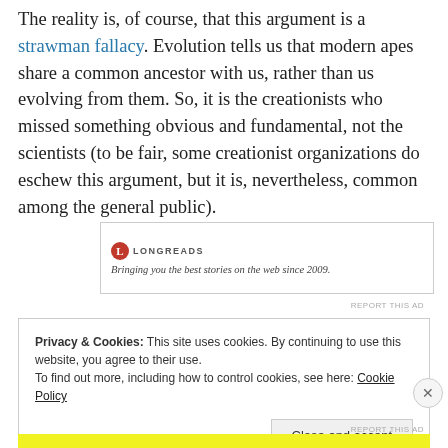The reality is, of course, that this argument is a strawman fallacy. Evolution tells us that modern apes share a common ancestor with us, rather than us evolving from them. So, it is the creationists who missed something obvious and fundamental, not the scientists (to be fair, some creationist organizations do eschew this argument, but it is, nevertheless, common among the general public).
[Figure (other): Longreads advertisement banner — logo with red circular icon and 'LONGREADS' text, tagline: Bringing you the best stories on the web since 2009.]
REPORT THIS AD
Privacy & Cookies: This site uses cookies. By continuing to use this website, you agree to their use. To find out more, including how to control cookies, see here: Cookie Policy
Close and accept